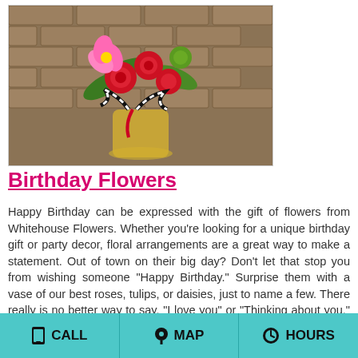[Figure (photo): Photo of a birthday flower arrangement with red roses, pink lilies, green accents, and a black-and-white striped ribbon on a stone brick background]
Birthday Flowers
Happy Birthday can be expressed with the gift of flowers from Whitehouse Flowers. Whether you're looking for a unique birthday gift or party decor, floral arrangements are a great way to make a statement. Out of town on their big day? Don't let that stop you from wishing someone "Happy Birthday." Surprise them with a vase of our best roses, tulips, or daisies, just to name a few. There really is no better way to say, "I love you" or "Thinking about you." Browse our birthday arrangements and give us a call or order online today!
CALL  MAP  HOURS